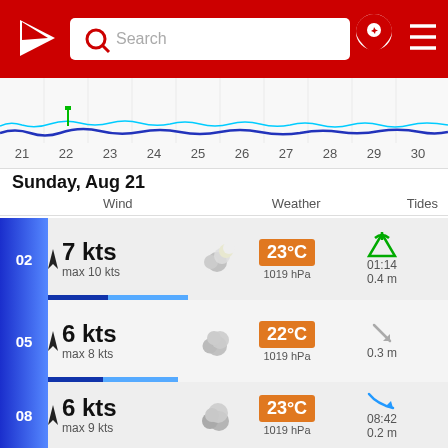[Figure (screenshot): Red navigation header bar with white logo (sailing mark), search box with magnifying glass icon and 'Search' placeholder text, location pin icon with star, and hamburger menu]
[Figure (continuous-plot): Timeline chart showing wind/wave data from day 21 to 30, with blue wave lines on white background and date labels 21-30]
Sunday, Aug 21
Wind   Weather   Tides
| Time | Wind | Weather Icon | Temperature / Pressure | Tides |
| --- | --- | --- | --- | --- |
| 02 | 7 kts
max 10 kts | partly cloudy night | 23°C
1019 hPa | 01:14
0.4 m |
| 05 | 6 kts
max 8 kts | overcast | 22°C
1019 hPa | 0.3 m |
| 08 | 6 kts
max 9 kts | cloudy | 23°C
1019 hPa | 08:42
0.2 m |
| 11 | 6 kts
max 7 kts | partly cloudy | 26°C
1019 hPa | 0.2 m |